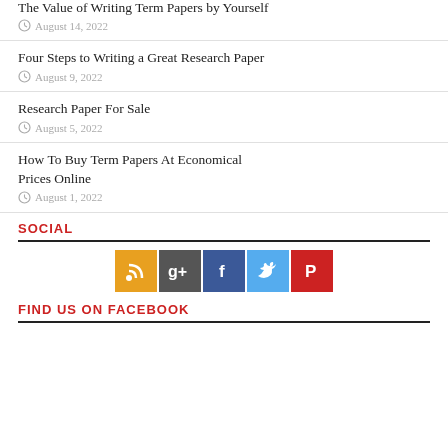The Value of Writing Term Papers by Yourself
August 14, 2022
Four Steps to Writing a Great Research Paper
August 9, 2022
Research Paper For Sale
August 5, 2022
How To Buy Term Papers At Economical Prices Online
August 1, 2022
SOCIAL
[Figure (infographic): Row of five social media icon buttons: RSS (yellow/orange), Google+ (dark gray), Facebook (blue), Twitter (light blue), Pinterest (red)]
FIND US ON FACEBOOK